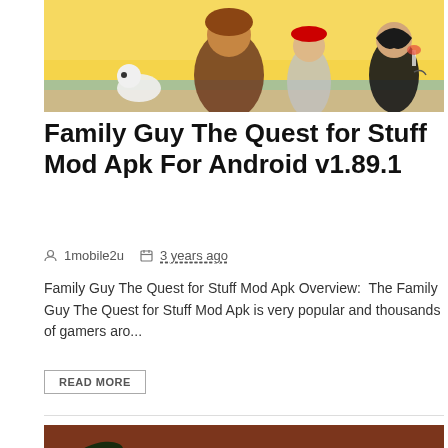[Figure (illustration): Family Guy animated characters at a beach/pool scene — cartoon illustration used as article header image]
Family Guy The Quest for Stuff Mod Apk For Android v1.89.1
1mobile2u   3 years ago
Family Guy The Quest for Stuff Mod Apk Overview:  The Family Guy The Quest for Stuff Mod Apk is very popular and thousands of gamers aro...
READ MORE
[Figure (screenshot): Fast Five The Movie Official Game promotional banner with dark cinematic background, racing cars, and palm trees]